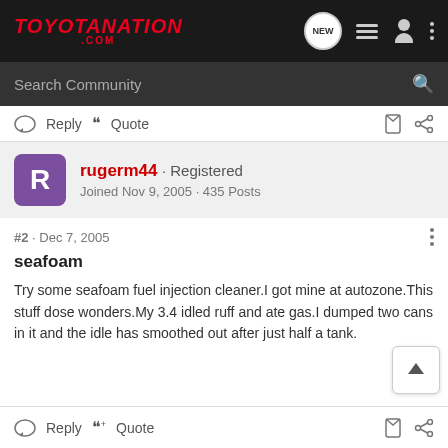TOYOTANATION.COM
Search Community
Reply  Quote
rugerm44 · Registered
Joined Nov 9, 2005 · 435 Posts
#2 · Dec 7, 2005
seafoam
Try some seafoam fuel injection cleaner.I got mine at autozone.This stuff dose wonders.My 3.4 idled ruff and ate gas.I dumped two cans in it and the idle has smoothed out after just half a tank.
Reply  Quote